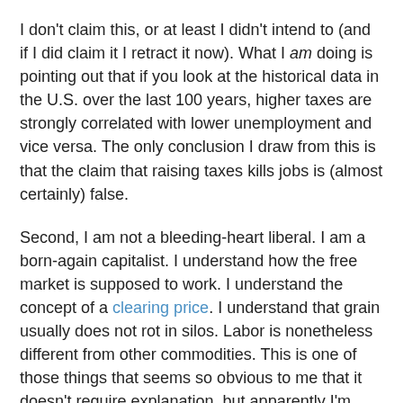I don't claim this, or at least I didn't intend to (and if I did claim it I retract it now). What I am doing is pointing out that if you look at the historical data in the U.S. over the last 100 years, higher taxes are strongly correlated with lower unemployment and vice versa. The only conclusion I draw from this is that the claim that raising taxes kills jobs is (almost certainly) false.
Second, I am not a bleeding-heart liberal. I am a born-again capitalist. I understand how the free market is supposed to work. I understand the concept of a clearing price. I understand that grain usually does not rot in silos. Labor is nonetheless different from other commodities. This is one of those things that seems so obvious to me that it doesn't require explanation, but apparently I'm wrong about that. I apologize in advance if what I'm about to say comes across as condescending.
What makes labor different from wheat is that labor is made of humans, and humans are different from wheat in ways that matter. Humans are more complicated than...